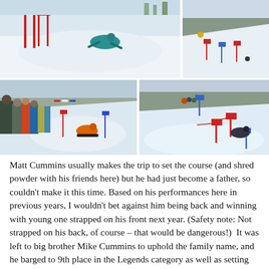[Figure (photo): Four snowboarding/skiing action photos arranged in a grid: top-left shows a snowboarder in teal jacket crawling on a snowy course with red gate frames, top-right shows a distant view of a snowy slope with colored gates, bottom-left shows spectators watching an orange-jacketed snowboarder on a course, bottom-right shows a snowboarder navigating red and blue gates on a slope.]
Matt Cummins usually makes the trip to set the course (and shred powder with his friends here) but he had just become a father, so couldn't make it this time. Based on his performances here in previous years, I wouldn't bet against him being back and winning with young one strapped on his front next year. (Safety note: Not strapped on his back, of course – that would be dangerous!)  It was left to big brother Mike Cummins to uphold the family name, and he barged to 9th place in the Legends category as well as setting the course and making the trophies